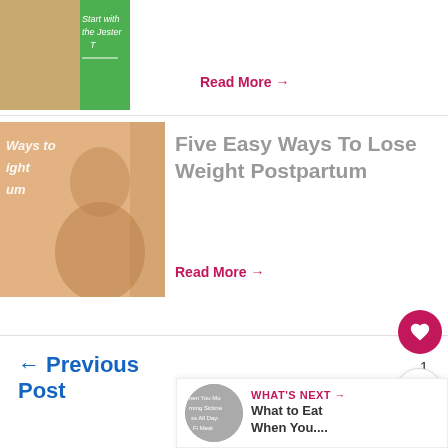[Figure (photo): Thumbnail image partially visible at top with green overlay and text 'Start with the Jester T']
Read More →
[Figure (photo): Thumbnail image of person, with overlay text 'Ways to ight um']
Five Easy Ways To Lose Weight Postpartum
Read More →
← Previous Post
Next Post →
[Figure (photo): Small circular thumbnail showing text about morning sickness]
WHAT'S NEXT → What to Eat When You....